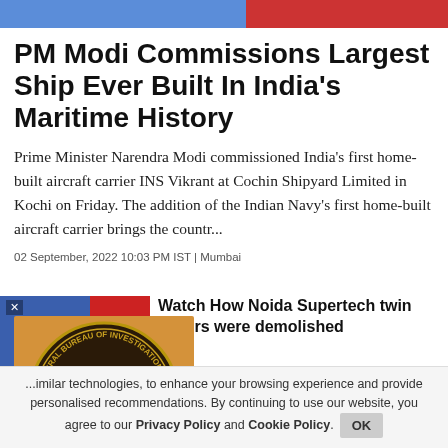[Figure (photo): Top banner with blue and red sections]
PM Modi Commissions Largest Ship Ever Built In India's Maritime History
Prime Minister Narendra Modi commissioned India's first home-built aircraft carrier INS Vikrant at Cochin Shipyard Limited in Kochi on Friday. The addition of the Indian Navy's first home-built aircraft carrier brings the countr...
02 September, 2022 10:03 PM IST | Mumbai
[Figure (photo): Thumbnail image with blue and red sections, with x close button]
Watch How Noida Supertech twin towers were demolished
[Figure (logo): CBI (Central Bureau of Investigation) India seal/logo on orange background]
Phogat Death Case: Anjuna...
...imilar technologies, to enhance your browsing experience and provide personalised recommendations. By continuing to use our website, you agree to our Privacy Policy and Cookie Policy.